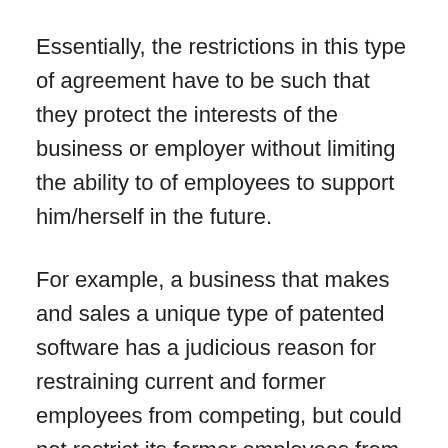Essentially, the restrictions in this type of agreement have to be such that they protect the interests of the business or employer without limiting the ability to of employees to support him/herself in the future.
For example, a business that makes and sales a unique type of patented software has a judicious reason for restraining current and former employees from competing, but could not restrict its former employees from working for another computer or software company ever again. That kind of scope would be far too broad and unrealistic.